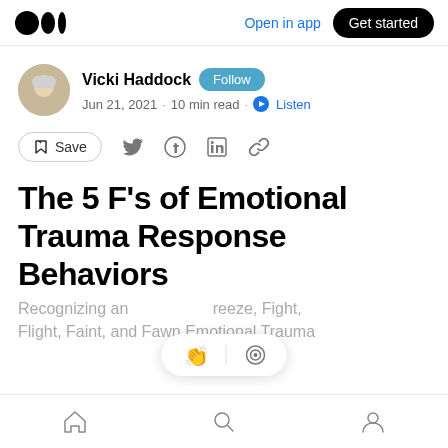Medium logo | Open in app | Get started
Vicki Haddock · Follow · Jun 21, 2021 · 10 min read · Listen
Save (bookmark icon) · Twitter · Facebook · LinkedIn · Link
The 5 F's of Emotional Trauma Response Behaviors
Recognizing and... Freeze, Fight, Flight, Faint, and Fawn Emotional Trauma
Home · Search · Profile (bottom navigation)